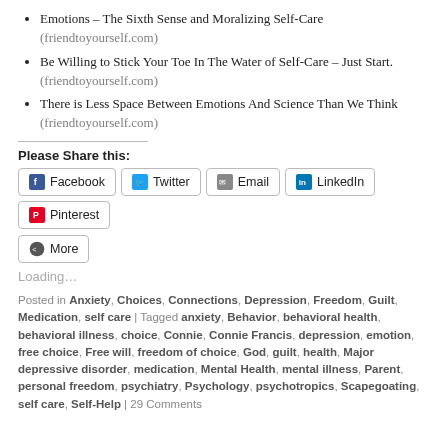Emotions – The Sixth Sense and Moralizing Self-Care (friendtoyourself.com)
Be Willing to Stick Your Toe In The Water of Self-Care – Just Start. (friendtoyourself.com)
There is Less Space Between Emotions And Science Than We Think (friendtoyourself.com)
Please Share this:
[Figure (infographic): Social share buttons for Facebook, Twitter, Email, LinkedIn, Pinterest, and More]
Loading...
Posted in Anxiety, Choices, Connections, Depression, Freedom, Guilt, Medication, self care | Tagged anxiety, Behavior, behavioral health, behavioral illness, choice, Connie, Connie Francis, depression, emotion, free choice, Free will, freedom of choice, God, guilt, health, Major depressive disorder, medication, Mental Health, mental illness, Parent, personal freedom, psychiatry, Psychology, psychotropics, Scapegoating, self care, Self-Help | 29 Comments